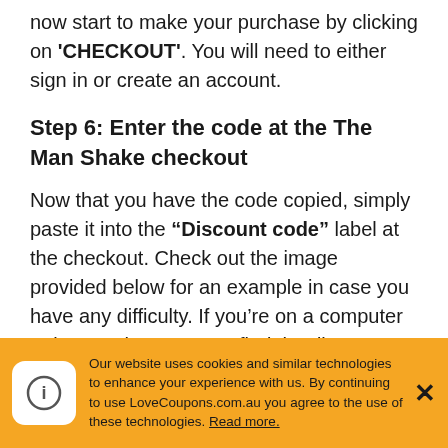now start to make your purchase by clicking on 'CHECKOUT'. You will need to either sign in or create an account.
Step 6: Enter the code at the The Man Shake checkout
Now that you have the code copied, simply paste it into the "Discount code" label at the checkout. Check out the image provided below for an example in case you have any difficulty. If you're on a computer or laptop, then you can find the discount code box to the left of the checkout page.
[Figure (screenshot): How do I use my The Man Shake discount [code image placeholder]]
Our website uses cookies and similar technologies to enhance your experience with us. By continuing to use LoveCoupons.com.au you agree to the use of these technologies. Read more.